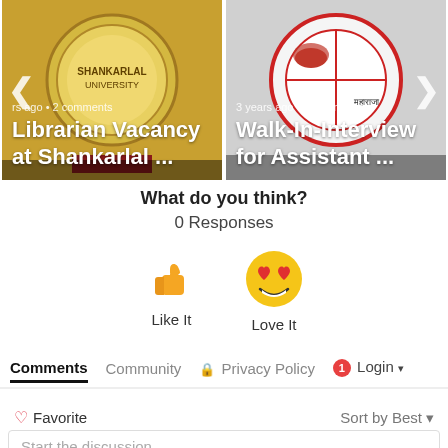[Figure (screenshot): Carousel card showing a university emblem with text: 'rs ago • 2 comments' and title 'Librarian Vacancy at Shankarlal ...' overlaid on image]
[Figure (screenshot): Carousel card showing a university emblem with text: '3 years ago • 2 comments' and title 'Walk-In-Interview for Assistant ...' overlaid on image]
What do you think?
0 Responses
[Figure (illustration): Thumbs up emoji (👍) for Like It]
Like It
[Figure (illustration): Heart eyes emoji (😍) for Love It]
Love It
Comments  Community  🔒 Privacy Policy  1  Login ▾
♡ Favorite
Sort by Best ▾
Start the discussion...